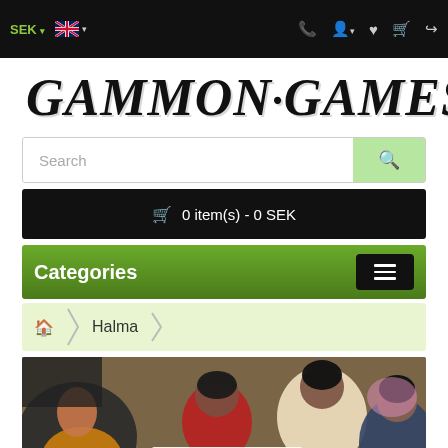SEK ▾  [UK flag] ▾  [phone] [user] [heart] [cart] [share]
GAMMON·GAMES
Search
🛒 0 item(s) - 0 SEK
Categories
Halma
[Figure (photo): Children sitting on the ground playing a board game (Halma), photographed from above. Several kids visible in colorful clothing around a game board with colorful pieces.]